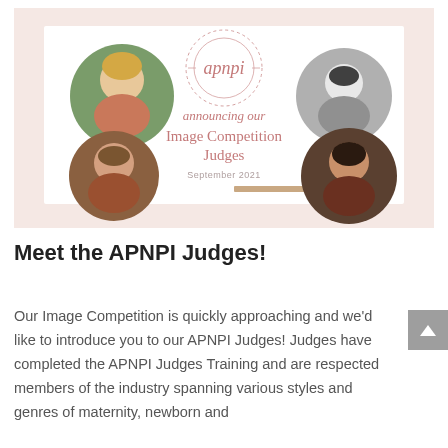[Figure (illustration): APNPI banner announcing Image Competition Judges for September 2021. Features the APNPI logo in the center with script text 'announcing our Image Competition Judges September 2021'. Four circular portrait photos of women are arranged around the text — two on the left side and two on the right side. Background is blush/rose pink.]
Meet the APNPI Judges!
Our Image Competition is quickly approaching and we'd like to introduce you to our APNPI Judges! Judges have completed the APNPI Judges Training and are respected members of the industry spanning various styles and genres of maternity, newborn and